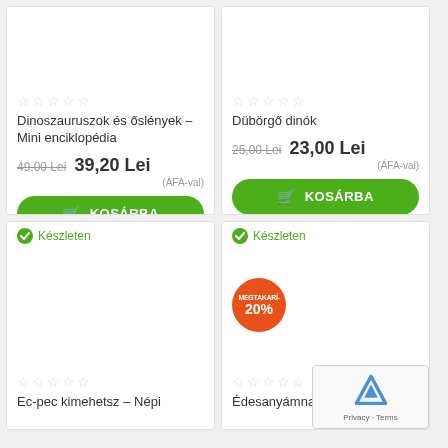[Figure (screenshot): Product card top-left: book product image area (white)]
★★★★★ (empty stars rating)
Dinoszauruszok és őslények – Mini enciklopédia
49,00 Lei  39,20 Lei (ÁFA-val)
KOSÁRBA
[Figure (screenshot): Product card top-right: book product image area (white)]
★★★★★ (empty stars rating)
Dübörgő dinók
25,00 Lei  23,00 Lei (ÁFA-val)
KOSÁRBA
Készleten
[Figure (screenshot): Product card bottom-left: book product image area (white)]
★★★★★ (empty stars rating)
Ec-pec kimehetsz – Népi
Készleten
[Figure (screenshot): Product card bottom-right with MEGTAKARITÁS 20% badge: book product image area (white)]
★★★★★ (empty stars rating)
Édesanyámnak